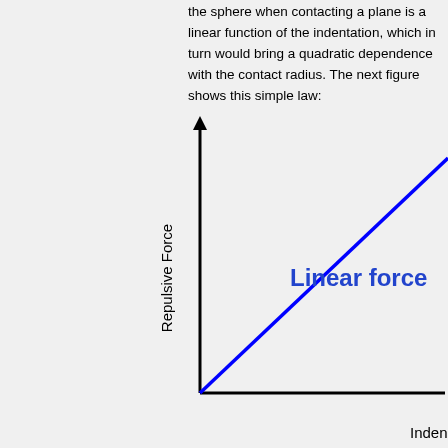the sphere when contacting a plane is a linear function of the indentation, which in turn would bring a quadratic dependence with the contact radius. The next figure shows this simple law:
[Figure (continuous-plot): A graph with y-axis labeled 'Repulsive Force' and x-axis labeled 'Inden...' (Indentation, partially visible). A blue line labeled 'Linear force' rises linearly from the origin (bottom-left where axes meet) toward the upper-right corner. The axes are drawn with bold black lines and an upward arrow on the y-axis.]